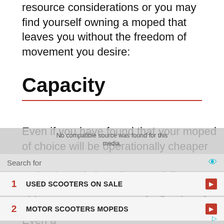resource considerations or you may find yourself owning a moped that leaves you without the freedom of movement you desire:
Capacity
Even if you have found that your moped of choice will be operationally cheaper than your current car, you still shouldn't make the switch until you've fully appraised how much carrying capacity you will lose as a result of the switch. Even a
[Figure (screenshot): Ad overlay showing search results: 'No compatible source was found for this media.' with search bar and two results: 1. USED SCOOTERS ON SALE, 2. MOTOR SCOOTERS MOPEDS, and partial text 'mopey economy']